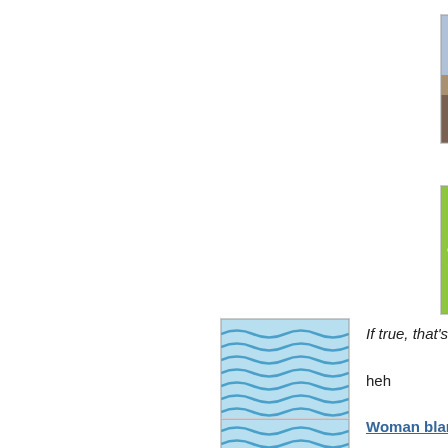[Figure (photo): Photo of Al Sharpton in military-style outfit with arms raised]
Al Sharpton has a gender ga... than the $70,000 lien the IRS... Melissa should owe more, fo...
[Figure (logo): Glassdoor logo - green sunburst with circle center]
http://www.glassdoor.com/b... companies/? utm_medium=email&utm_s...
Netflix is #2.
[Figure (illustration): Blue wavy lines illustration]
If true, that's an outrage!
heh
[Figure (illustration): Blue wavy lines illustration]
Woman blames coffee-drin...